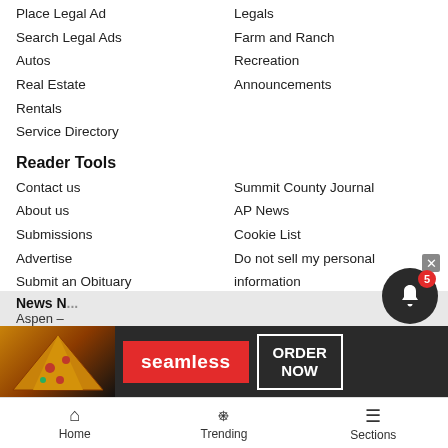Place Legal Ad
Search Legal Ads
Autos
Real Estate
Rentals
Service Directory
Legals
Farm and Ranch
Recreation
Announcements
Reader Tools
Contact us
About us
Submissions
Advertise
Submit an Obituary
Summit Daily archive
Magazines
Newsletters
Summit Daily E-Edition
Summit County Journal
AP News
Cookie List
Do not sell my personal information
Commercial Print Sales
RSS
Work for us
[Figure (infographic): Seamless food delivery advertisement banner with pizza image, Seamless logo in red, and ORDER NOW button]
News N... Aspen –
Home | Trending | Sections